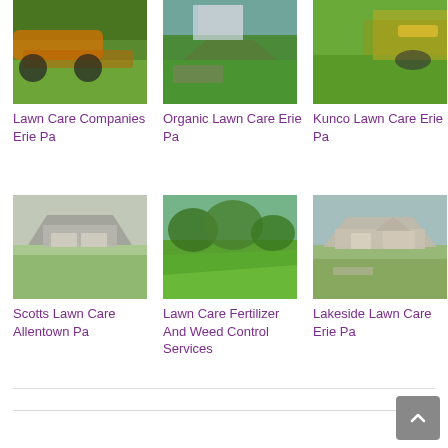[Figure (photo): Lawn mower on green grass - Lawn Care Companies Erie Pa]
Lawn Care Companies Erie Pa
[Figure (photo): Landscaped garden with stone wall - Organic Lawn Care Erie Pa]
Organic Lawn Care Erie Pa
[Figure (photo): Lawn mower close-up - Kunco Lawn Care Erie Pa]
Kunco Lawn Care Erie Pa
[Figure (photo): House with garage and lawn - Scotts Lawn Care Allentown Pa]
Scotts Lawn Care Allentown Pa
[Figure (photo): Green sloped lawn with trees - Lawn Care Fertilizer And Weed Control Services]
Lawn Care Fertilizer And Weed Control Services
[Figure (photo): House with lawn and driveway - Lakeside Lawn Care Erie Pa]
Lakeside Lawn Care Erie Pa